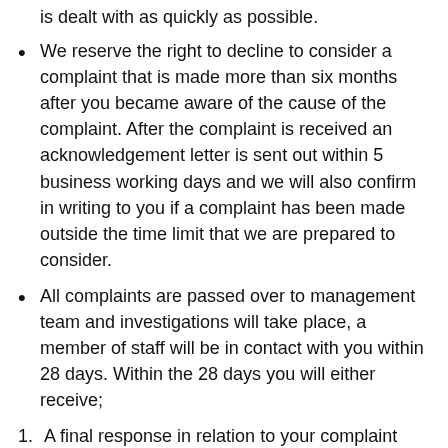We reserve the right to decline to consider a complaint that is made more than six months after you became aware of the cause of the complaint. After the complaint is received an acknowledgement letter is sent out within 5 business working days and we will also confirm in writing to you if a complaint has been made outside the time limit that we are prepared to consider.
All complaints are passed over to management team and investigations will take place, a member of staff will be in contact with you within 28 days. Within the 28 days you will either receive;
A final response in relation to your complaint advising you to book a meeting. In the same letter we will tell you our views on the complaint you have made and how we suggest resolving it, hopefully to your satisfaction as well as our on